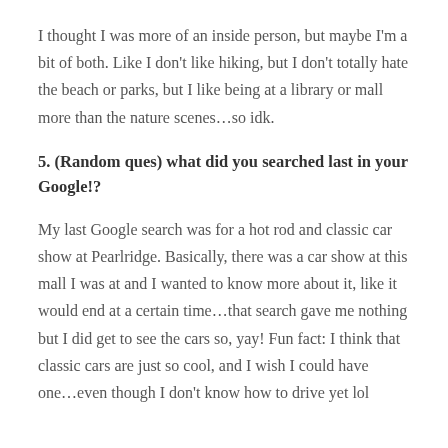I thought I was more of an inside person, but maybe I'm a bit of both. Like I don't like hiking, but I don't totally hate the beach or parks, but I like being at a library or mall more than the nature scenes…so idk.
5. (Random ques) what did you searched last in your Google!?
My last Google search was for a hot rod and classic car show at Pearlridge. Basically, there was a car show at this mall I was at and I wanted to know more about it, like it would end at a certain time…that search gave me nothing but I did get to see the cars so, yay! Fun fact: I think that classic cars are just so cool, and I wish I could have one…even though I don't know how to drive yet lol